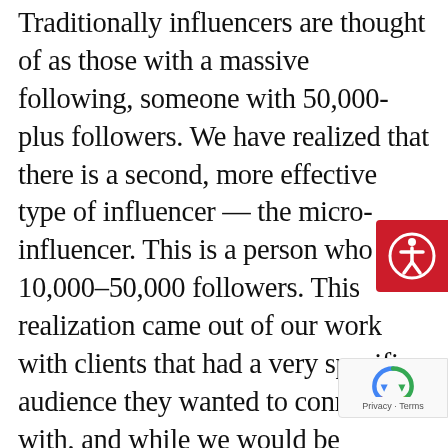Traditionally influencers are thought of as those with a massive following, someone with 50,000-plus followers. We have realized that there is a second, more effective type of influencer — the micro-influencer. This is a person who has 10,000–50,000 followers. This realization came out of our work with clients that had a very specific audience they wanted to connect with, and while we would be guaranteed to reach some of that audience using a macro-influencer, the quality of the connection could not be guaranteed. There is a distance in connection to audience. The traditional macro-influencer becomes more of an entertainer than someone an audience connects and identifies with and, most importantly, trusts.